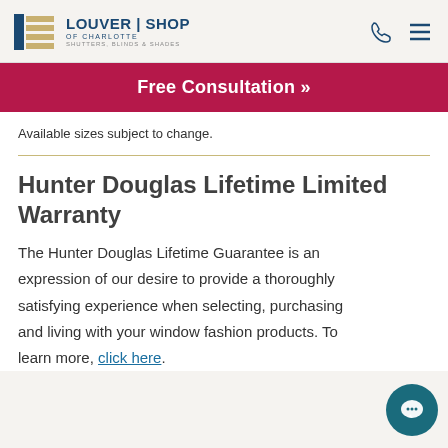Louver Shop of Charlotte — Shutters, Blinds & Shades
Free Consultation »
Available sizes subject to change.
Hunter Douglas Lifetime Limited Warranty
The Hunter Douglas Lifetime Guarantee is an expression of our desire to provide a thoroughly satisfying experience when selecting, purchasing and living with your window fashion products. To learn more, click here.